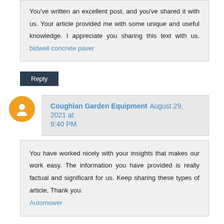You've written an excellent post, and you've shared it with us. Your article provided me with some unique and useful knowledge. I appreciate you sharing this text with us. bidwell concrete paver
Reply
Coughlan Garden Equipment August 29, 2021 at 9:40 PM
You have worked nicely with your insights that makes our work easy. The information you have provided is really factual and significant for us. Keep sharing these types of article, Thank you. Automower